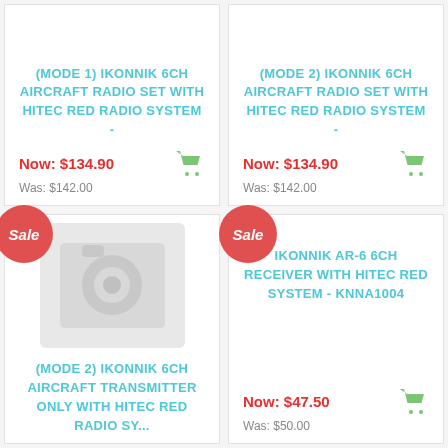(MODE 1) IKONNIK 6CH AIRCRAFT RADIO SET WITH HITEC RED RADIO SYSTEM -
Now: $134.90
Was: $142.00
(MODE 2) IKONNIK 6CH AIRCRAFT RADIO SET WITH HITEC RED RADIO SYSTEM -
Now: $134.90
Was: $142.00
[Figure (photo): Placeholder camera icon image for product with no photo, grey background]
(MODE 2) IKONNIK 6CH AIRCRAFT TRANSMITTER ONLY WITH HITEC RED RADIO SY...
IKONNIK AR-6 6CH RECEIVER WITH HITEC RED SYSTEM - KNNA1004
Now: $47.50
Was: $50.00